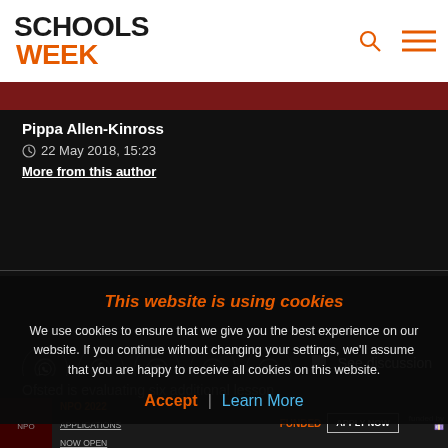[Figure (logo): Schools Week logo with SCHOOLS in black bold and WEEK in orange bold]
Pippa Allen-Kinross
22 May 2018, 15:23
More from this author
[Figure (infographic): Social sharing icons: WhatsApp, Facebook, Twitter, LinkedIn, Email circles with white outlines. See discussion button on right.]
This website is using cookies
We use cookies to ensure that we give you the best experience on our website. If you continue without changing your settings, we'll assume that you are happy to receive all cookies on this website.
Accept | Learn More
Ofsted is evaluating six additional lesson
[Figure (screenshot): Partial ad banner: NPO 2022 Applications Now Open, Funded, Apply Now button]